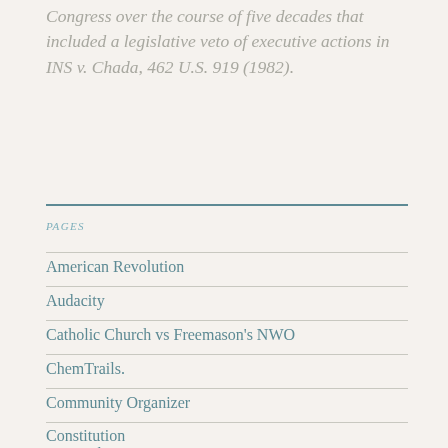Congress over the course of five decades that included a legislative veto of executive actions in INS v. Chada, 462 U.S. 919 (1982).
PAGES
American Revolution
Audacity
Catholic Church vs Freemason's NWO
ChemTrails.
Community Organizer
Constitution
Denmark